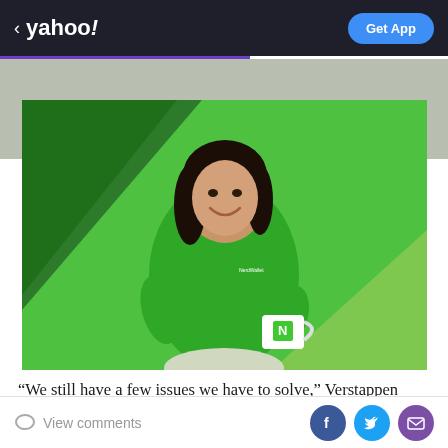< yahoo!   Get App
[Figure (photo): Woman in green blouse smiling and holding a white mug with a green 'N' logo, standing in front of a green geometric background. This appears to be a Mint/NerdWallet style advertisement photo.]
“We still have a few issues we have to solve,” Verstappen said. “I mean, we are quick, but my Friday was terrible,
View comments  [Facebook] [Twitter] [Email]